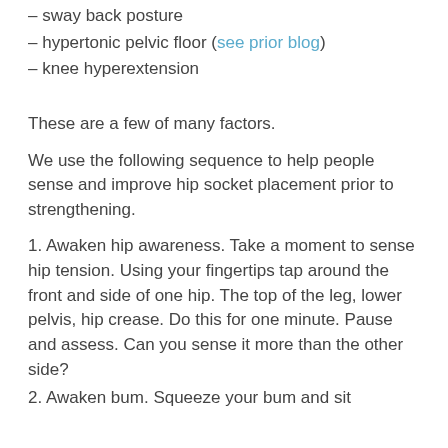– sway back posture
– hypertonic pelvic floor (see prior blog)
– knee hyperextension
These are a few of many factors.
We use the following sequence to help people sense and improve hip socket placement prior to strengthening.
1. Awaken hip awareness. Take a moment to sense hip tension. Using your fingertips tap around the front and side of one hip. The top of the leg, lower pelvis, hip crease. Do this for one minute. Pause and assess. Can you sense it more than the other side?
2. Awaken bum. Squeeze your bum and sit